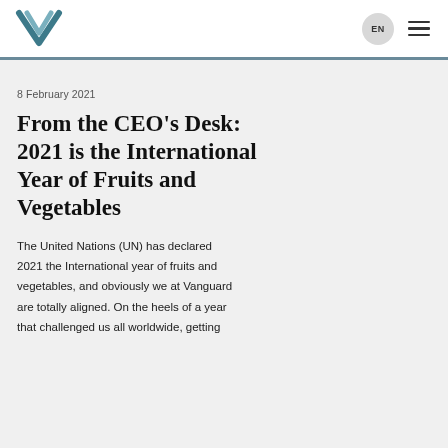EN  ☰
8 February 2021
From the CEO's Desk: 2021 is the International Year of Fruits and Vegetables
The United Nations (UN) has declared 2021 the International year of fruits and vegetables, and obviously we at Vanguard are totally aligned. On the heels of a year that challenged us all worldwide, getting